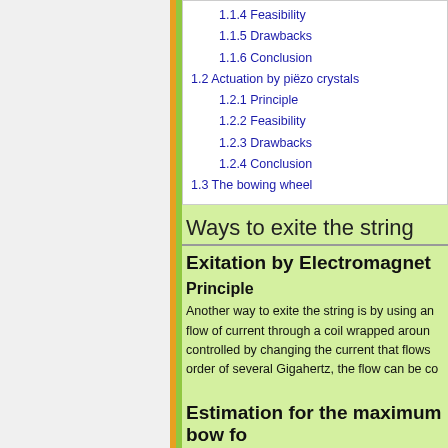1.1.4 Feasibility
1.1.5 Drawbacks
1.1.6 Conclusion
1.2 Actuation by piëzo crystals
1.2.1 Principle
1.2.2 Feasibility
1.2.3 Drawbacks
1.2.4 Conclusion
1.3 The bowing wheel
Ways to exite the string
Exitation by Electromagnet
Principle
Another way to exite the string is by using an flow of current through a coil wrapped aroun controlled by changing the current that flows order of several Gigahertz, the flow can be co
Estimation for the maximum bow fo
Figure x shows the string on the moment it's